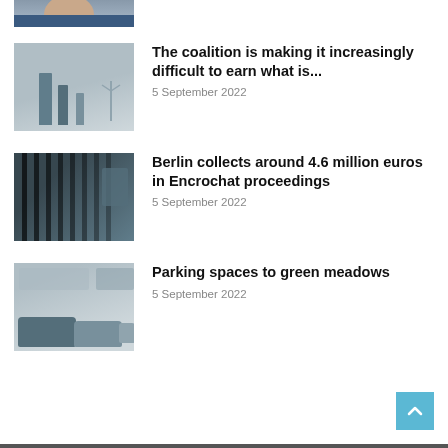[Figure (photo): Partially visible cropped photo of a person's face/upper body]
[Figure (photo): Industrial chimneys and a wind turbine against a grey sky]
The coalition is making it increasingly difficult to earn what is...
5 September 2022
[Figure (photo): People behind prison bars]
Berlin collects around 4.6 million euros in Encrochat proceedings
5 September 2022
[Figure (photo): Parking lot with cars]
Parking spaces to green meadows
5 September 2022